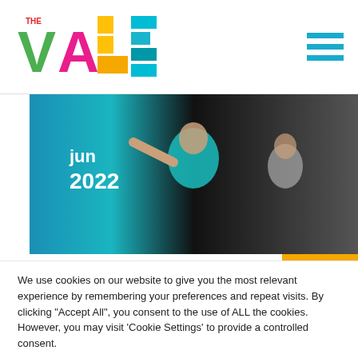[Figure (logo): THE VALE logo with colorful letters V (green), A (pink/magenta), L (yellow/orange blocks), E (teal/blue blocks), THE in small red above V]
[Figure (photo): People dancing/exercising in a studio, wearing colorful athletic wear. Date overlay shows 'jun 2022']
moving with the flow! wellb...
THE VALE
[Figure (other): Ticket icon (orange background), price £5.00 in blue]
We use cookies on our website to give you the most relevant experience by remembering your preferences and repeat visits. By clicking "Accept All", you consent to the use of ALL the cookies. However, you may visit 'Cookie Settings' to provide a controlled consent.
Cookie Settings   Accept All   Read More